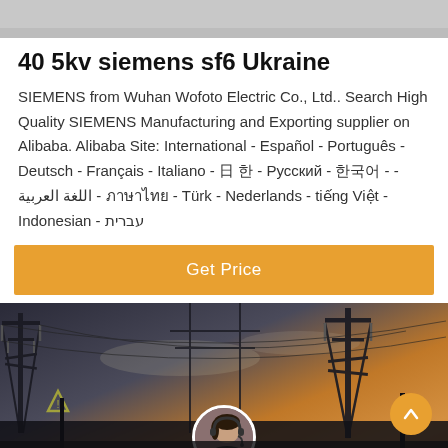[Figure (photo): Partial top image, gray background, appears to be a product or outdoor scene cropped at top]
40 5kv siemens sf6 Ukraine
SIEMENS from Wuhan Wofoto Electric Co., Ltd.. Search High Quality SIEMENS Manufacturing and Exporting supplier on Alibaba. Alibaba Site: International - Español - Português - Deutsch - Français - Italiano - 日 한 - Русский - 한국어 - - اللغة العربية - ภาษาไทย - Türk - Nederlands - tiếng Việt - Indonesian - עברית
[Figure (other): Orange 'Get Price' button]
[Figure (photo): Photograph of electrical power transmission tower silhouettes against a sunset sky, with a customer service avatar and bottom navigation bar showing 'Leave Message' and 'Chat Online']